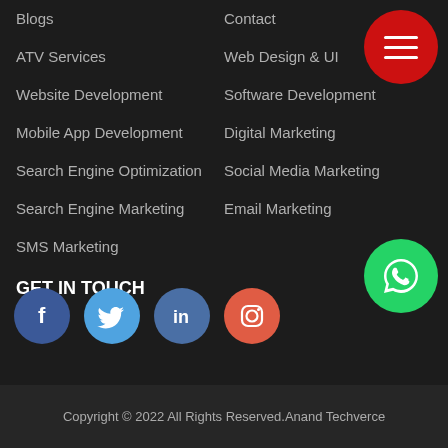Blogs
Contact
ATV Services
Web Design & UI
Website Development
Software Development
Mobile App Development
Digital Marketing
Search Engine Optimization
Social Media Marketing
Search Engine Marketing
Email Marketing
SMS Marketing
GET IN TOUCH
[Figure (other): Social media icons: Facebook, Twitter, LinkedIn, Instagram]
Copyright © 2022 All Rights Reserved.Anand Techverce